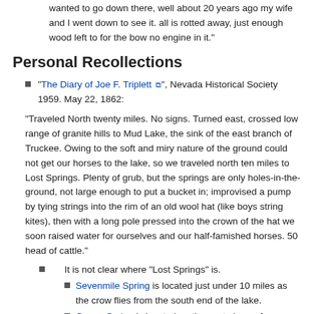His old boat set for years along side the bank of the lake, I always wanted to go down there, well about 20 years ago my wife and I went down to see it. all is rotted away, just enough wood left to for the bow no engine in it."
Personal Recollections
"The Diary of Joe F. Triplett", Nevada Historical Society 1959. May 22, 1862:
"Traveled North twenty miles. No signs. Turned east, crossed low range of granite hills to Mud Lake, the sink of the east branch of Truckee. Owing to the soft and miry nature of the ground could not get our horses to the lake, so we traveled north ten miles to Lost Springs. Plenty of grub, but the springs are only holes-in-the-ground, not large enough to put a bucket in; improvised a pump by tying strings into the rim of an old wool hat (like boys string kites), then with a long pole pressed into the crown of the hat we soon raised water for ourselves and our half-famished horses. 50 head of cattle."
It is not clear where "Lost Springs" is.
Sevenmile Spring is located just under 10 miles as the crow flies from the south end of the lake.
Goose Spring is located on the east shore of Winnemucca Lake, 14.6 miles north (as the crow flies) from the south end of the lake.